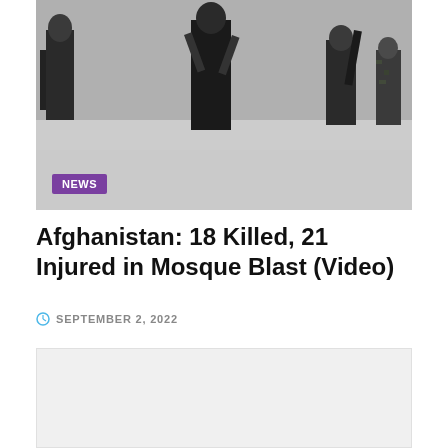[Figure (photo): Black and white photo of armed figures/soldiers walking, used as article header image. A purple NEWS badge is overlaid in the bottom-left corner.]
Afghanistan: 18 Killed, 21 Injured in Mosque Blast (Video)
SEPTEMBER 2, 2022
[Figure (other): Light gray placeholder area below the date, likely a video embed placeholder.]